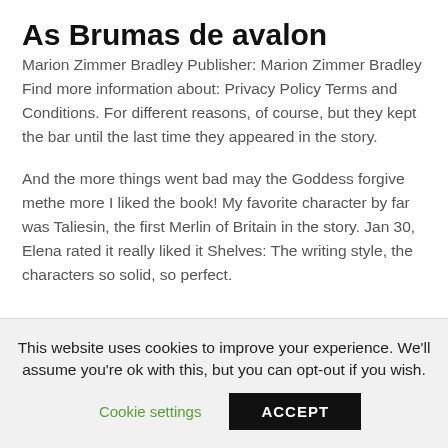As Brumas de avalon
Marion Zimmer Bradley Publisher: Marion Zimmer Bradley Find more information about: Privacy Policy Terms and Conditions. For different reasons, of course, but they kept the bar until the last time they appeared in the story.
And the more things went bad may the Goddess forgive methe more I liked the book! My favorite character by far was Taliesin, the first Merlin of Britain in the story. Jan 30, Elena rated it really liked it Shelves: The writing style, the characters so solid, so perfect.
This website uses cookies to improve your experience. We'll assume you're ok with this, but you can opt-out if you wish.
Cookie settings
ACCEPT